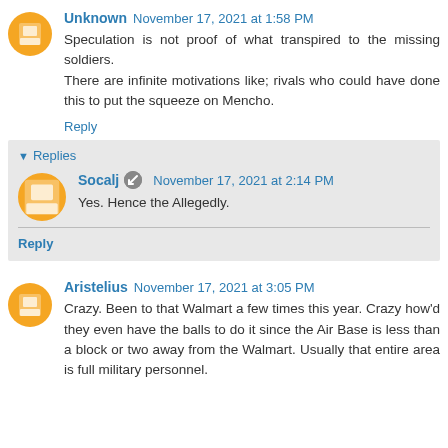Unknown November 17, 2021 at 1:58 PM
Speculation is not proof of what transpired to the missing soldiers.
There are infinite motivations like; rivals who could have done this to put the squeeze on Mencho.
Reply
▾ Replies
Socalj November 17, 2021 at 2:14 PM
Yes. Hence the Allegedly.
Reply
Aristelius November 17, 2021 at 3:05 PM
Crazy. Been to that Walmart a few times this year. Crazy how'd they even have the balls to do it since the Air Base is less than a block or two away from the Walmart. Usually that entire area is full military personnel.